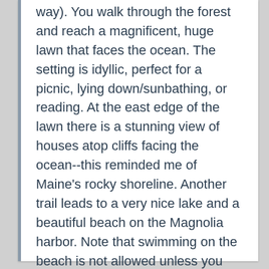way). You walk through the forest and reach a magnificent, huge lawn that faces the ocean. The setting is idyllic, perfect for a picnic, lying down/sunbathing, or reading. At the east edge of the lawn there is a stunning view of houses atop cliffs facing the ocean--this reminded me of Maine's rocky shoreline. Another trail leads to a very nice lake and a beautiful beach on the Magnolia harbor. Note that swimming on the beach is not allowed unless you are a Trustees member (a membership may be worth it by the way, since it also gives you discounts/free admission to other amazing Trustees properties including Crane beach). Props to the Trustees for maintaining such an amazing place.